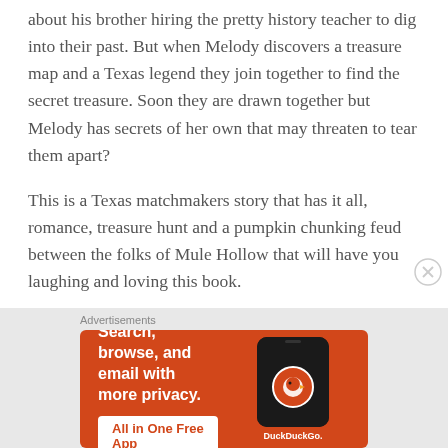about his brother hiring the pretty history teacher to dig into their past. But when Melody discovers a treasure map and a Texas legend they join together to find the secret treasure. Soon they are drawn together but Melody has secrets of her own that may threaten to tear them apart?
This is a Texas matchmakers story that has it all, romance, treasure hunt and a pumpkin chunking feud between the folks of Mule Hollow that will have you laughing and loving this book.
[Figure (other): DuckDuckGo advertisement banner on orange/red background. Text reads: Search, browse, and email with more privacy. All in One Free App. Shows a phone graphic with DuckDuckGo logo and branding.]